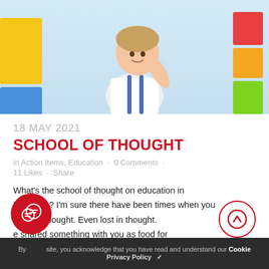[Figure (photo): Young boy in white polo shirt with blue suspenders, posed in thinking posture with hand on chin, set against colorful classroom shelves background]
18 MAY 2021
SCHOOL OF THOUGHT
in Action Items, Education · 0 Comments · 11 Likes · Share
What's the school of thought on education in Manitoba? I'm sure there have been times when you deep in thought. Even lost in thought. e shared something with you as food for
By site, you acknowledge that you have read and understand our Cookie Privacy Policy ✓